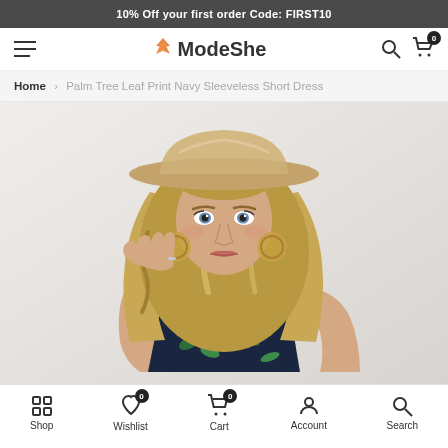10% Off your first order Code: FIRST10
ModeShe — navigation bar with hamburger menu, logo, search and cart icons
Home > Palm Tree Leaf Print Navy Sleeveless Short Dress
[Figure (photo): A blonde woman wearing a wide-brim tan/beige hat, long curly hair, layered necklaces and earrings, wearing a dark navy palm tree leaf print sleeveless dress, posed against a light grey/white wall background.]
Shop | Wishlist 0 | Cart 0 | Account | Search